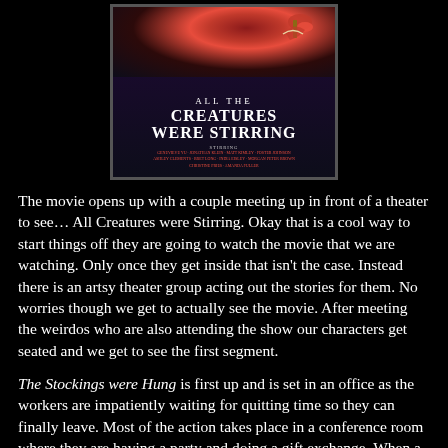[Figure (photo): Movie poster for 'All the Creatures Were Stirring' showing title text on dark background with red decorative elements]
The movie opens up with a couple meeting up in front of a theater to see… All Creatures were Stirring. Okay that is a cool way to start things off they are going to watch the movie that we are watching. Only once they get inside that isn't the case. Instead there is an artsy theater group acting out the stories for them. No worries though we get to actually see the movie. After meeting the weirdos who are also attending the show our characters get seated and we get to see the first segment.
The Stockings were Hung is first up and is set in an office as the workers are impatiently waiting for quitting time so they can finally leave. Most of the action takes place in a conference room where they are having a party and doing a gift exchange. When a jack in the box goes off and kills one of them things get weird. The doors are locked and the phone rings with a crazy person on